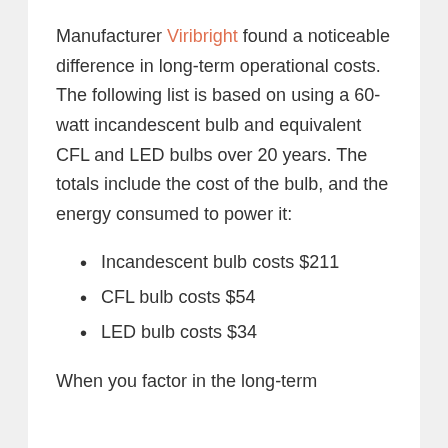Manufacturer Viribright found a noticeable difference in long-term operational costs. The following list is based on using a 60-watt incandescent bulb and equivalent CFL and LED bulbs over 20 years. The totals include the cost of the bulb, and the energy consumed to power it:
Incandescent bulb costs $211
CFL bulb costs $54
LED bulb costs $34
When you factor in the long-term